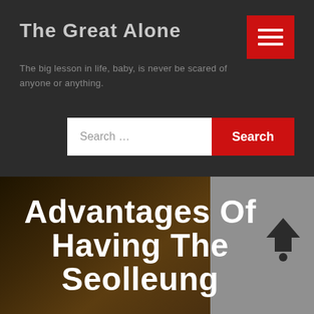The Great Alone
The big lesson in life, baby, is never be scared of anyone or anything.
[Figure (screenshot): Website header with dark background, site title 'The Great Alone', red hamburger menu button, tagline text, and a search bar with red Search button]
Advantages Of Having The Seolleung